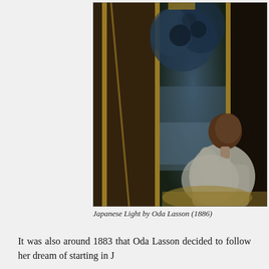[Figure (photo): Painting of a woman in white clothing sitting and looking at a Japanese-style screen or panel showing a blue nocturnal landscape with trees. The painting is dark with blue and brown tones. Title: Japanese Light by Oda Lasson (1886).]
Japanese Light by Oda Lasson (1886)
It was also around 1883 that Oda Lasson decided to follow her dream of starting in J...